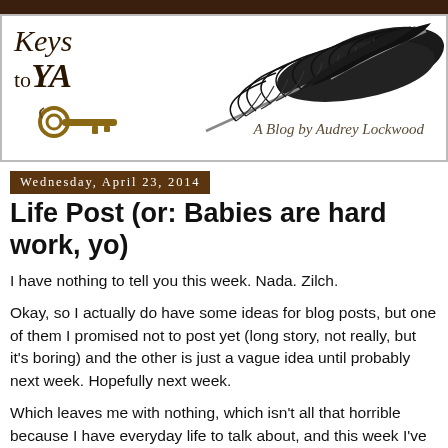[Figure (logo): Keys to YA blog header with feather quill and key illustration, 'A Blog by Audrey Lockwood' text]
Wednesday, April 23, 2014
Life Post (or: Babies are hard work, yo)
I have nothing to tell you this week. Nada. Zilch.
Okay, so I actually do have some ideas for blog posts, but one of them I promised not to post yet (long story, not really, but it's boring) and the other is just a vague idea until probably next week. Hopefully next week.
Which leaves me with nothing, which isn't all that horrible because I have everyday life to talk about, and this week I've been salivating for opportunities to talk about it, if only because misery (that's me) has a voracious appetite for